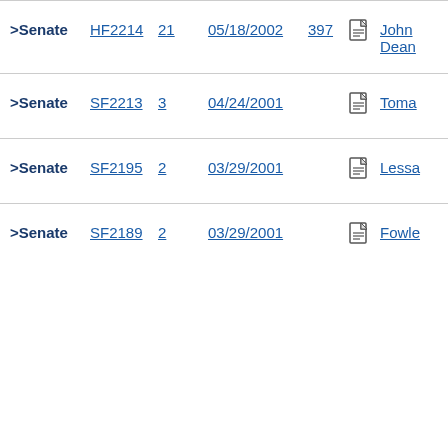| Chamber | Bill | Num | Date | Pages | Icon | Name |
| --- | --- | --- | --- | --- | --- | --- |
| >Senate | HF2214 | 21 | 05/18/2002 | 397 | [doc] | John Dean |
| >Senate | SF2213 | 3 | 04/24/2001 |  | [doc] | Toma |
| >Senate | SF2195 | 2 | 03/29/2001 |  | [doc] | Lessa |
| >Senate | SF2189 | 2 | 03/29/2001 |  | [doc] | Fowle |